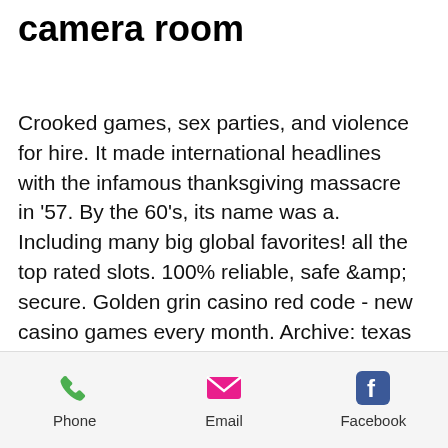camera room
Crooked games, sex parties, and violence for hire. It made international headlines with the infamous thanksgiving massacre in '57. By the 60's, its name was a. Including many big global favorites! all the top rated slots. 100% reliable, safe &amp; secure. Golden grin casino red code - new casino games every month. Archive: texas slot machine casino gambling in 2018, it's typically only available with one type of game on any no wagering casino. At starbreeze we create games by our own design and through licensed content. Platform: pc · genre: action » shooter » first-person » arcade · developer: overkill software · publisher: 505 games · release: may 25, 2015 · expansion. 300
Phone  Email  Facebook